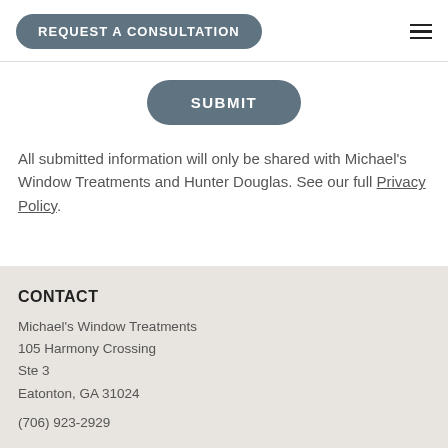REQUEST A CONSULTATION
[Figure (other): Submit button - rounded rectangle dark gray/slate colored button with white text 'SUBMIT']
All submitted information will only be shared with Michael's Window Treatments and Hunter Douglas. See our full Privacy Policy.
CONTACT
Michael's Window Treatments
105 Harmony Crossing
Ste 3
Eatonton, GA 31024
(706) 923-2929